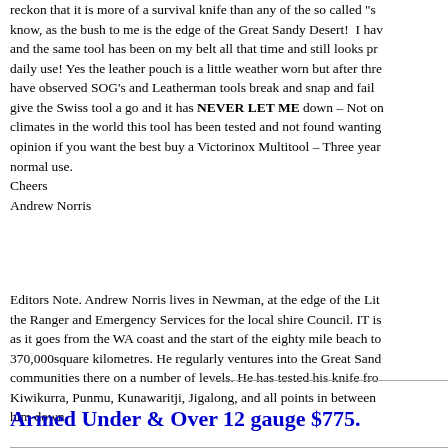reckon that it is more of a survival knife than any of the so called "s... know, as the bush to me is the edge of the Great Sandy Desert! I hav... and the same tool has been on my belt all that time and still looks pr... daily use! Yes the leather pouch is a little weather worn but after thre... have observed SOG's and Leatherman tools break and snap and fail ... give the Swiss tool a go and it has NEVER LET ME down – Not on... climates in the world this tool has been tested and not found wanting... opinion if you want the best buy a Victorinox Multitool – Three year... normal use.
Cheers
Andrew Norris
Editors Note. Andrew Norris lives in Newman, at the edge of the Lit... the Ranger and Emergency Services for the local shire Council. IT is... as it goes from the WA coast and the start of the eighty mile beach to... 370,000square kilometres. He regularly ventures into the Great Sand... communities there on a number of levels. He has tested his knife fro... Kiwikurra, Punmu, Kunawaritji, Jigalong, and all points in between... him down.
Armed Under & Over 12 gauge $775.